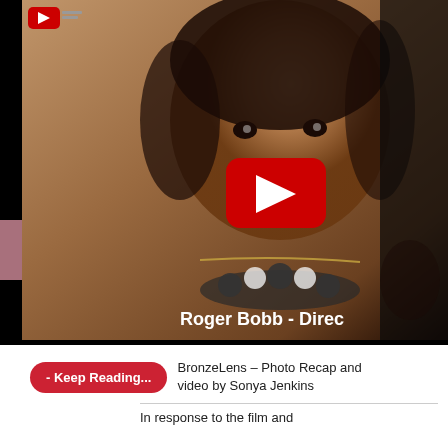[Figure (screenshot): YouTube video thumbnail showing a smiling woman wearing a floral necklace with a YouTube play button overlay. Text in bottom right reads 'Roger Bobb - Direc' (truncated). A YouTube logo is visible in the top left corner.]
- Keep Reading...
BronzeLens – Photo Recap and video by Sonya Jenkins
In response to the film and